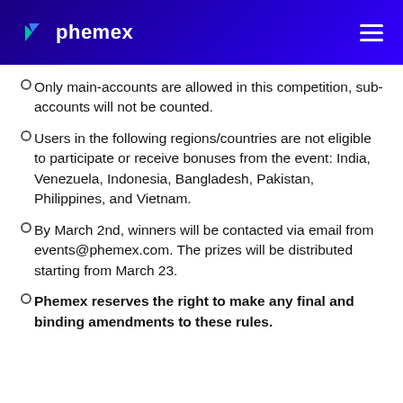phemex
Only main-accounts are allowed in this competition, sub-accounts will not be counted.
Users in the following regions/countries are not eligible to participate or receive bonuses from the event: India, Venezuela, Indonesia, Bangladesh, Pakistan, Philippines, and Vietnam.
By March 2nd, winners will be contacted via email from events@phemex.com. The prizes will be distributed starting from March 23.
Phemex reserves the right to make any final and binding amendments to these rules.